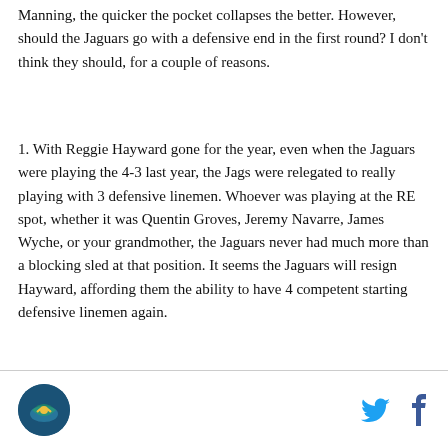Manning, the quicker the pocket collapses the better. However, should the Jaguars go with a defensive end in the first round? I don't think they should, for a couple of reasons.
1. With Reggie Hayward gone for the year, even when the Jaguars were playing the 4-3 last year, the Jags were relegated to really playing with 3 defensive linemen. Whoever was playing at the RE spot, whether it was Quentin Groves, Jeremy Navarre, James Wyche, or your grandmother, the Jaguars never had much more than a blocking sled at that position. It seems the Jaguars will resign Hayward, affording them the ability to have 4 competent starting defensive linemen again.
[Jaguars logo] [Twitter icon] [Facebook icon]